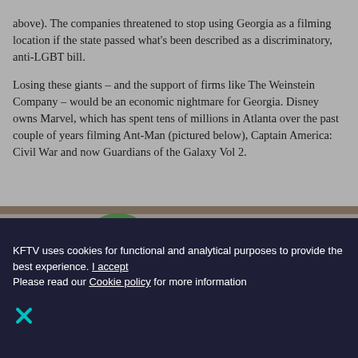(which includes Senator drama. The Walking Dead, pictured above). The companies threatened to stop using Georgia as a filming location if the state passed what's been described as a discriminatory, anti-LGBT bill.
Losing these giants – and the support of firms like The Weinstein Company – would be an economic nightmare for Georgia. Disney owns Marvel, which has spent tens of millions in Atlanta over the past couple of years filming Ant-Man (pictured below), Captain America: Civil War and now Guardians of the Galaxy Vol 2.
[Figure (photo): A still from the Ant-Man movie showing a helmeted figure (Ant-Man in his suit) at ground level with brick steps and a green garden hose coiled in the background.]
KFTV uses cookies for functional and analytical purposes to provide the best experience. I accept
Please read our Cookie policy for more information